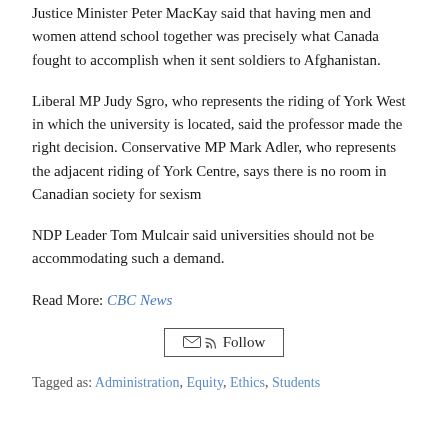Justice Minister Peter MacKay said that having men and women attend school together was precisely what Canada fought to accomplish when it sent soldiers to Afghanistan.
Liberal MP Judy Sgro, who represents the riding of York West in which the university is located, said the professor made the right decision. Conservative MP Mark Adler, who represents the adjacent riding of York Centre, says there is no room in Canadian society for sexism
NDP Leader Tom Mulcair said universities should not be accommodating such a demand.
Read More: CBC News
[Figure (other): Follow button with envelope and RSS feed icons]
Tagged as: Administration, Equity, Ethics, Students